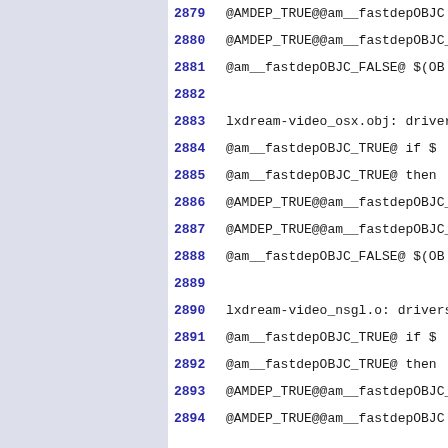2879 @AMDEP_TRUE@@am__fastdepOBJC...
2880 @AMDEP_TRUE@@am__fastdepOBJC...
2881 @am__fastdepOBJC_FALSE@  $(OB...
2882
2883 lxdream-video_osx.obj: driver...
2884 @am__fastdepOBJC_TRUE@  if $...
2885 @am__fastdepOBJC_TRUE@  then...
2886 @AMDEP_TRUE@@am__fastdepOBJC...
2887 @AMDEP_TRUE@@am__fastdepOBJC...
2888 @am__fastdepOBJC_FALSE@  $(OB...
2889
2890 lxdream-video_nsgl.o: drivers...
2891 @am__fastdepOBJC_TRUE@  if $...
2892 @am__fastdepOBJC_TRUE@  then...
2893 @AMDEP_TRUE@@am__fastdepOBJC...
2894 @AMDEP_TRUE@@am__fastdepOBJC...